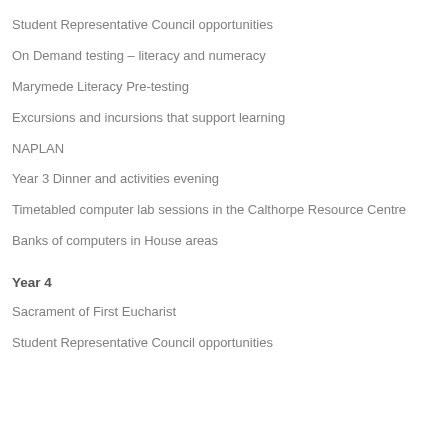Student Representative Council opportunities
On Demand testing – literacy and numeracy
Marymede Literacy Pre-testing
Excursions and incursions that support learning
NAPLAN
Year 3 Dinner and activities evening
Timetabled computer lab sessions in the Calthorpe Resource Centre
Banks of computers in House areas
Year 4
Sacrament of First Eucharist
Student Representative Council opportunities